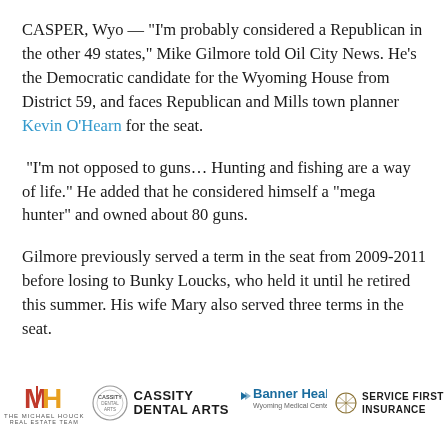CASPER, Wyo — "I'm probably considered a Republican in the other 49 states," Mike Gilmore told Oil City News. He's the Democratic candidate for the Wyoming House from District 59, and faces Republican and Mills town planner Kevin O'Hearn for the seat.
"I'm not opposed to guns… Hunting and fishing are a way of life." He added that he considered himself a "mega hunter" and owned about 80 guns.
Gilmore previously served a term in the seat from 2009-2011 before losing to Bunky Loucks, who held it until he retired this summer. His wife Mary also served three terms in the seat.
[Figure (logo): Footer logos: The Michael Houck Real Estate Team, Cassity Dental Arts, Banner Health Wyoming Medical Center, Service First Insurance]